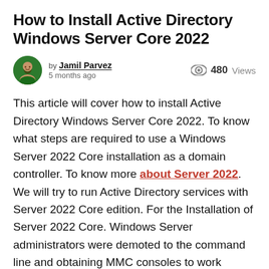How to Install Active Directory Windows Server Core 2022
by Jamil Parvez
5 months ago
480 Views
This article will cover how to install Active Directory Windows Server Core 2022. To know what steps are required to use a Windows Server 2022 Core installation as a domain controller. To know more about Server 2022. We will try to run Active Directory services with Server 2022 Core edition. For the Installation of Server 2022 Core. Windows Server administrators were demoted to the command line and obtaining MMC consoles to work pointed to a